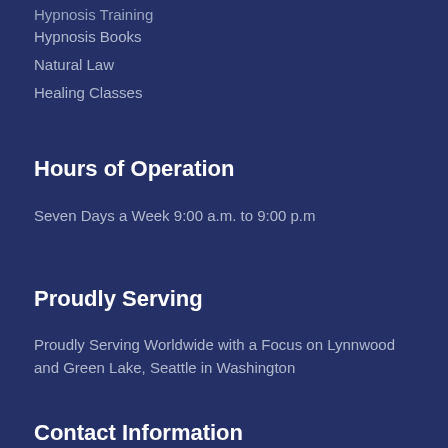Hypnosis Training
Hypnosis Books
Natural Law
Healing Classes
Hours of Operation
Seven Days a Week 9:00 a.m. to 9:00 p.m
Proudly Serving
Proudly Serving Worldwide with a Focus on Lynnwood and Green Lake, Seattle in Washington
Contact Information